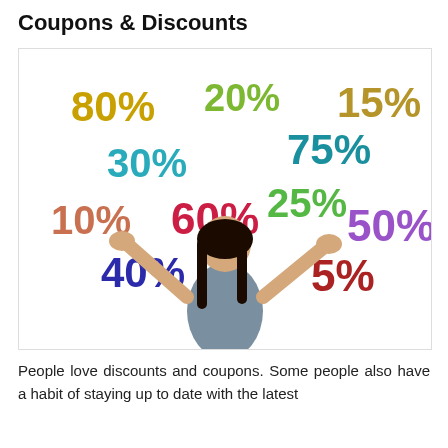Coupons & Discounts
[Figure (illustration): Promotional illustration showing a woman with arms raised surrounded by colorful discount percentages: 80%, 20%, 15%, 30%, 75%, 10%, 60%, 25%, 50%, 40%, 5%]
People love discounts and coupons. Some people also have a habit of staying up to date with the latest